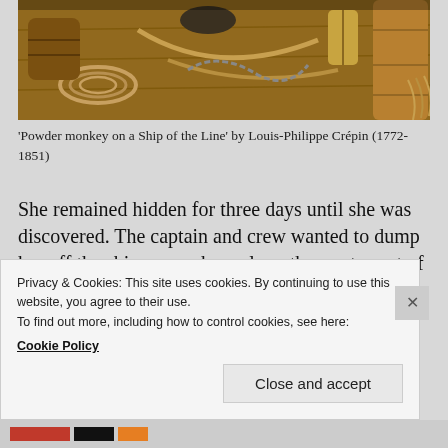[Figure (illustration): Painting showing nautical equipment on a ship deck — ropes, pulleys, barrels, and rigging items arranged on wooden planks, in warm sepia/brown tones. Partial view of 'Powder monkey on a Ship of the Line' by Louis-Philippe Crépin.]
'Powder monkey on a Ship of the Line' by Louis-Philippe Crépin (1772-1851)
She remained hidden for three days until she was discovered. The captain and crew wanted to dump her off the ship somewhere along the west coast of Africa, however she was put to work in the sick bay as a nurse to sick and wounded sailors. She did such a good job that she was allowed to stay on board with her family, often being used as a
Privacy & Cookies: This site uses cookies. By continuing to use this website, you agree to their use.
To find out more, including how to control cookies, see here:
Cookie Policy
Close and accept